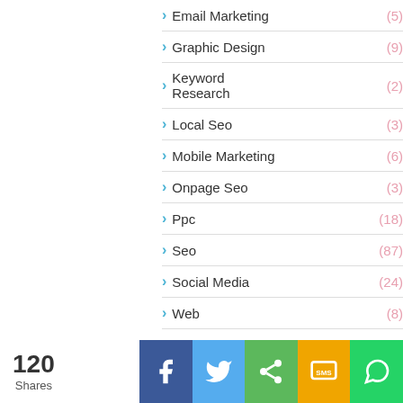Email Marketing (5)
Graphic Design (9)
Keyword Research (2)
Local Seo (3)
Mobile Marketing (6)
Onpage Seo (3)
Ppc (18)
Seo (87)
Social Media (24)
Web (8)
120 Shares